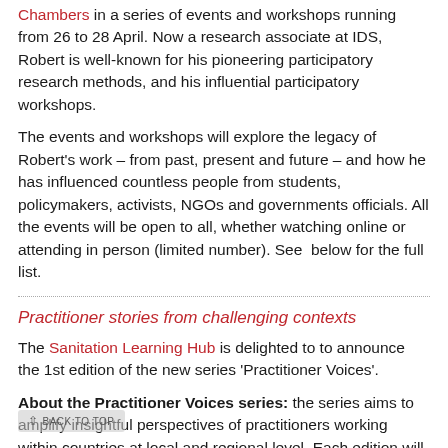Chambers in a series of events and workshops running from 26 to 28 April. Now a research associate at IDS, Robert is well-known for his pioneering participatory research methods, and his influential participatory workshops.
The events and workshops will explore the legacy of Robert's work – from past, present and future – and how he has influenced countless people from students, policymakers, activists, NGOs and governments officials. All the events will be open to all, whether watching online or attending in person (limited number). See below for the full list.
Practitioner stories from challenging contexts
The Sanitation Learning Hub is delighted to to announce the 1st edition of the new series 'Practitioner Voices'.
About the Practitioner Voices series: the series aims to amplify insightful perspectives of practitioners working within countries at local and regional level. Each edition will